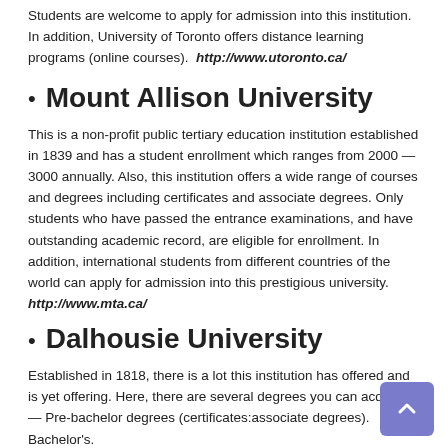Students are welcome to apply for admission into this institution. In addition, University of Toronto offers distance learning programs (online courses). http://www.utoronto.ca/
Mount Allison University
This is a non-profit public tertiary education institution established in 1839 and has a student enrollment which ranges from 2000 — 3000 annually. Also, this institution offers a wide range of courses and degrees including certificates and associate degrees. Only students who have passed the entrance examinations, and have outstanding academic record, are eligible for enrollment. In addition, international students from different countries of the world can apply for admission into this prestigious university. http://www.mta.ca/
Dalhousie University
Established in 1818, there is a lot this institution has offered and is yet offering. Here, there are several degrees you can acquire — Pre-bachelor degrees (certificates;associate degrees). Bachelor's.